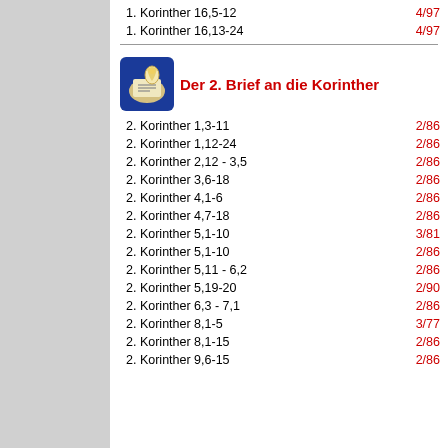1. Korinther 16,5-12   4/97
1. Korinther 16,13-24   4/97
Der 2. Brief an die Korinther
2. Korinther 1,3-11   2/86
2. Korinther 1,12-24   2/86
2. Korinther 2,12 - 3,5   2/86
2. Korinther 3,6-18   2/86
2. Korinther 4,1-6   2/86
2. Korinther 4,7-18   2/86
2. Korinther 5,1-10   3/81
2. Korinther 5,1-10   2/86
2. Korinther 5,11 - 6,2   2/86
2. Korinther 5,19-20   2/90
2. Korinther 6,3 - 7,1   2/86
2. Korinther 8,1-5   3/77
2. Korinther 8,1-15   2/86
2. Korinther 9,6-15   2/86